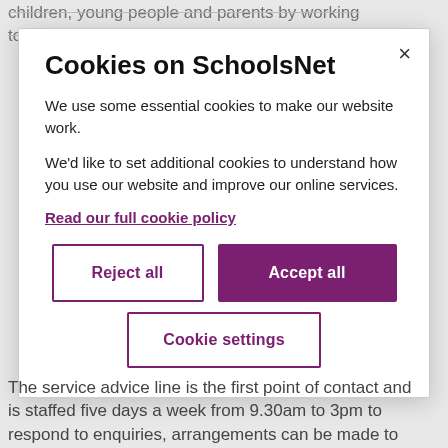children, young people and parents by working together with schools and services to achieve positive
Cookies on SchoolsNet
We use some essential cookies to make our website work.
We'd like to set additional cookies to understand how you use our website and improve our online services.
Read our full cookie policy
Reject all
Accept all
Cookie settings
The service advice line is the first point of contact and is staffed five days a week from 9.30am to 3pm to respond to enquiries, arrangements can be made to